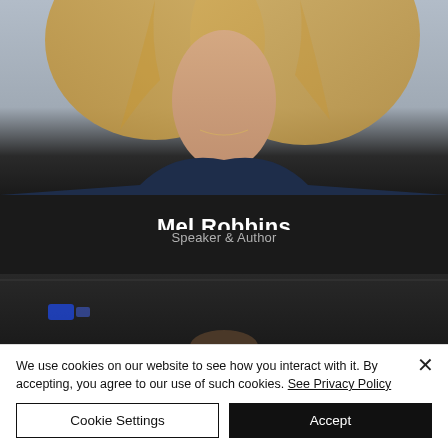[Figure (photo): Partial photo of a woman with blonde hair wearing a dark navy top, cropped at the neck/shoulders area, set against a light grey background fading to dark.]
Mel Robbins
Speaker & Author
[Figure (photo): Partial photo of a man's head visible at the bottom, dark background with a blue light element, appears to be a video thumbnail or speaker card.]
We use cookies on our website to see how you interact with it. By accepting, you agree to our use of such cookies. See Privacy Policy
Cookie Settings
Accept